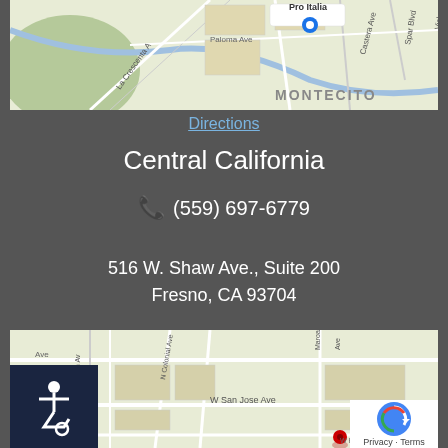[Figure (map): Google Maps view showing Montecito area with Pro Italia restaurant marked, La Crescenta Ave, Castera Ave, Spar Blvd, Vickers Dr visible]
Directions
Central California
(559) 697-6779
516 W. Shaw Ave., Suite 200
Fresno, CA 93704
[Figure (map): Google Maps view showing Fresno area with W San Jose Ave, N Colonial Ave, Maroa Ave visible, with accessibility icon overlay and reCAPTCHA privacy badge]